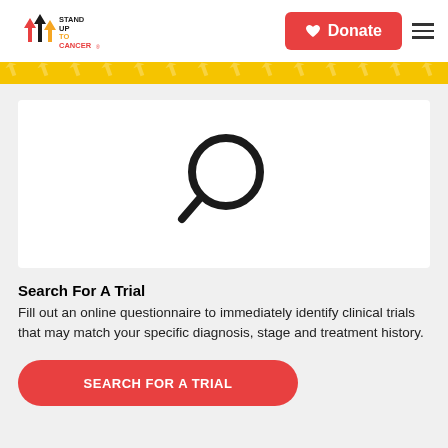[Figure (logo): Stand Up To Cancer logo with upward arrows in red and orange, text STAND UP TO CANCER]
[Figure (other): Red donate button with heart icon and hamburger menu icon in navigation header]
[Figure (other): Yellow decorative stripe with diagonal arrow pattern]
[Figure (other): White card containing a large magnifying glass search icon in black outline]
Search For A Trial
Fill out an online questionnaire to immediately identify clinical trials that may match your specific diagnosis, stage and treatment history.
[Figure (other): Red rounded pill button with text SEARCH FOR A TRIAL in white bold capital letters]